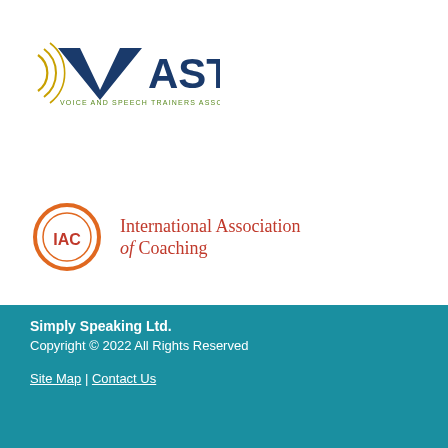[Figure (logo): VASTA - Voice and Speech Trainers Association logo with stylized V and concentric arc marks in blue and gold]
[Figure (logo): IAC - International Association of Coaching logo with circular orange/brown ring and text]
Simply Speaking Ltd.
Copyright © 2022 All Rights Reserved
Site Map | Contact Us